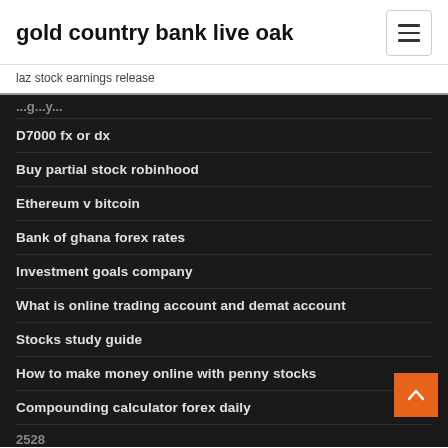gold country bank live oak
laz stock earnings release
D7000 fx or dx
Buy partial stock robinhood
Ethereum v bitcoin
Bank of ghana forex rates
Investment goals company
What is online trading account and demat account
Stocks study guide
How to make money online with penny stocks
Compounding calculator forex daily
2528